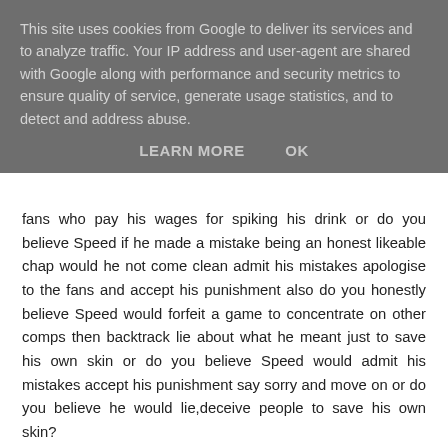This site uses cookies from Google to deliver its services and to analyze traffic. Your IP address and user-agent are shared with Google along with performance and security metrics to ensure quality of service, generate usage statistics, and to detect and address abuse.
LEARN MORE    OK
fans who pay his wages for spiking his drink or do you believe Speed if he made a mistake being an honest likeable chap would he not come clean admit his mistakes apologise to the fans and accept his punishment also do you honestly believe Speed would forfeit a game to concentrate on other comps then backtrack lie about what he meant just to save his own skin or do you believe Speed would admit his mistakes accept his punishment say sorry and move on or do you believe he would lie,deceive people to save his own skin?
I know what I believe
Savio